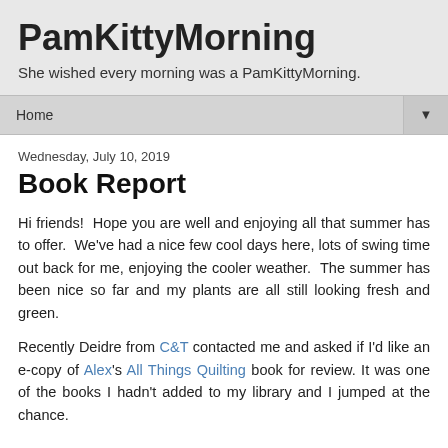PamKittyMorning
She wished every morning was a PamKittyMorning.
Home ▼
Wednesday, July 10, 2019
Book Report
Hi friends!  Hope you are well and enjoying all that summer has to offer.  We've had a nice few cool days here, lots of swing time out back for me, enjoying the cooler weather.  The summer has been nice so far and my plants are all still looking fresh and green.
Recently Deidre from C&T contacted me and asked if I'd like an e-copy of Alex's All Things Quilting book for review. It was one of the books I hadn't added to my library and I jumped at the chance.